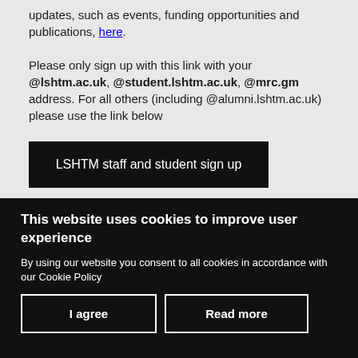updates, such as events, funding opportunities and publications, here. Please only sign up with this link with your @lshtm.ac.uk, @student.lshtm.ac.uk, @mrc.gm address. For all others (including @alumni.lshtm.ac.uk) please use the link below
LSHTM staff and student sign up
This website uses cookies to improve user experience
By using our website you consent to all cookies in accordance with our Cookie Policy
I agree
Read more